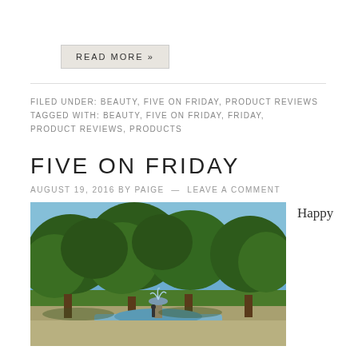READ MORE »
FILED UNDER: BEAUTY, FIVE ON FRIDAY, PRODUCT REVIEWS
TAGGED WITH: BEAUTY, FIVE ON FRIDAY, FRIDAY, PRODUCT REVIEWS, PRODUCTS
FIVE ON FRIDAY
AUGUST 19, 2016 BY PAIGE  —  LEAVE A COMMENT
[Figure (photo): Outdoor park scene with large green trees, blue sky, and a fountain in the foreground]
Happy